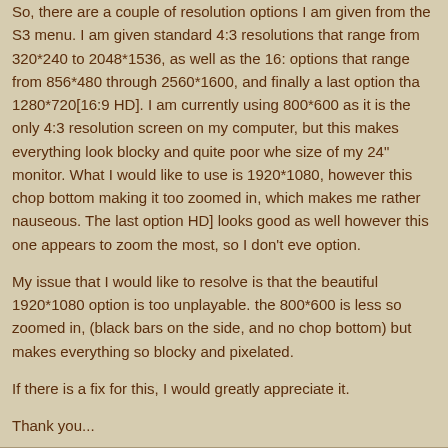So, there are a couple of resolution options I am given from the S3 menu. I am given standard 4:3 resolutions that range from 320*240 to 2048*1536, as well as the 16:... options that range from 856*480 through 2560*1600, and finally a last option that... 1280*720[16:9 HD]. I am currently using 800*600 as it is the only 4:3 resolution ... screen on my computer, but this makes everything look blocky and quite poor whe... size of my 24" monitor. What I would like to use is 1920*1080, however this chop... bottom making it too zoomed in, which makes me rather nauseous. The last option... HD] looks good as well however this one appears to zoom the most, so I don't eve... option.
My issue that I would like to resolve is that the beautiful 1920*1080 option is too ... unplayable. the 800*600 is less so zoomed in, (black bars on the side, and no chop... bottom) but makes everything so blocky and pixelated.
If there is a fix for this, I would greatly appreciate it.
Thank you...
Re: Field of View
by gunsmoker » Wed Feb 05, 2020 11:20 pm